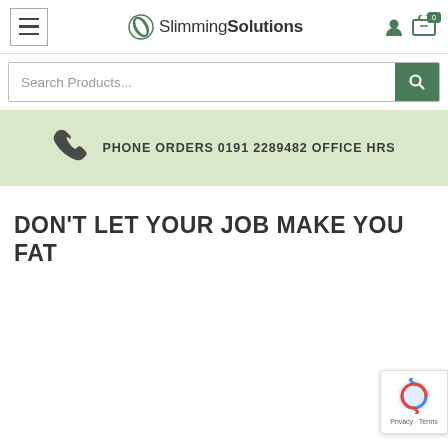SlimmingSolutions — hamburger menu, logo, user icon, cart icon
Search Products...
PHONE ORDERS 0191 2289482 OFFICE HRS
DON'T LET YOUR JOB MAKE YOU FAT
[Figure (logo): reCAPTCHA badge with spinning arrows icon and Privacy - Terms text]